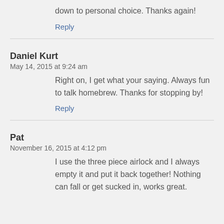down to personal choice. Thanks again!
Reply
Daniel Kurt
May 14, 2015 at 9:24 am
Right on, I get what your saying. Always fun to talk homebrew. Thanks for stopping by!
Reply
Pat
November 16, 2015 at 4:12 pm
I use the three piece airlock and I always empty it and put it back together! Nothing can fall or get sucked in, works great.